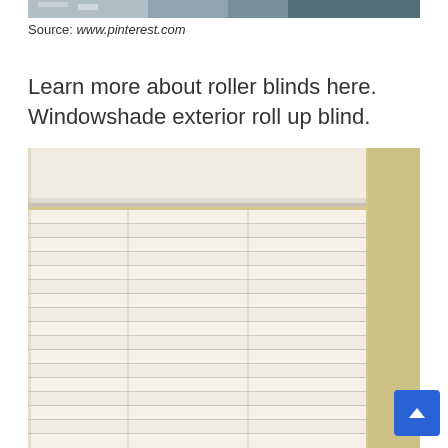[Figure (photo): Top portion of an interior/exterior photo showing a window with roller blinds, partially cropped at top of page]
Source: www.pinterest.com
Learn more about roller blinds here. Windowshade exterior roll up blind.
[Figure (photo): Close-up photo of white horizontal venetian blinds mounted on a wall with a yellowish/beige background. The blind housing/valance is visible at the top.]